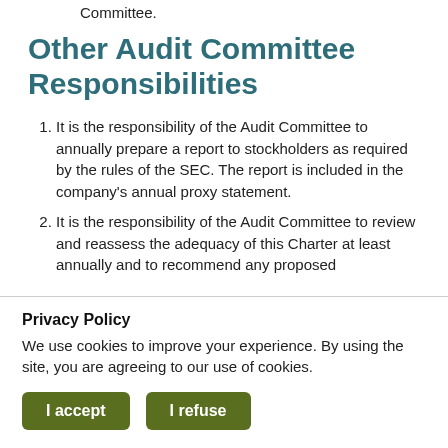Committee.
Other Audit Committee Responsibilities
It is the responsibility of the Audit Committee to annually prepare a report to stockholders as required by the rules of the SEC. The report is included in the company's annual proxy statement.
It is the responsibility of the Audit Committee to review and reassess the adequacy of this Charter at least annually and to recommend any proposed
Privacy Policy
We use cookies to improve your experience. By using the site, you are agreeing to our use of cookies.
I accept  I refuse